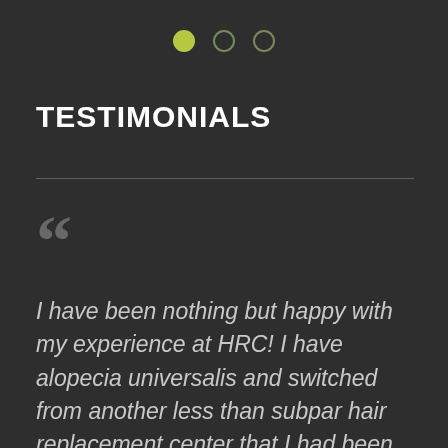[Figure (other): Three navigation dots: first filled green/yellow, second and third outlined circles]
TESTIMONIALS
““
I have been nothing but happy with my experience at HRC! I have alopecia universalis and switched from another less than subpar hair replacement center that I had been